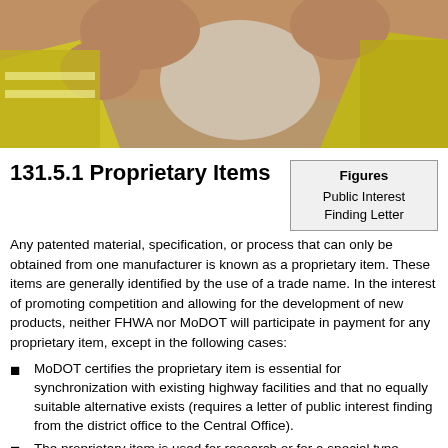[Figure (photo): Close-up photo of two people wearing high-visibility yellow vests, appears to be a construction or highway work zone setting]
131.5.1 Proprietary Items
| Figures |
| --- |
| Public Interest Finding Letter |
Any patented material, specification, or process that can only be obtained from one manufacturer is known as a proprietary item. These items are generally identified by the use of a trade name. In the interest of promoting competition and allowing for the development of new products, neither FHWA nor MoDOT will participate in payment for any proprietary item, except in the following cases:
MoDOT certifies the proprietary item is essential for synchronization with existing highway facilities and that no equally suitable alternative exists (requires a letter of public interest finding from the district office to the Central Office).
The proprietary item is used for research or for a special type of...